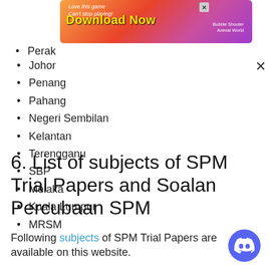[Figure (other): Advertisement banner: 'Love this game Can't stop playing! Download Now - Bubble Shooter Animal World']
Perak
Johor
Penang
Pahang
Negeri Sembilan
Kelantan
Terengganu
SBP
Melaka
Kuala Lumpur
MRSM
6. List of subjects of SPM Trial Papers and Soalan Percubaan SPM
Following subjects of SPM Trial Papers are available on this website.